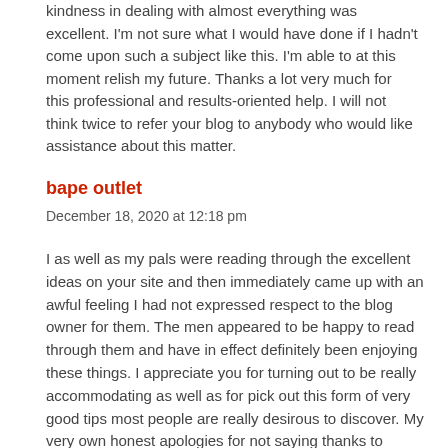kindness in dealing with almost everything was excellent. I'm not sure what I would have done if I hadn't come upon such a subject like this. I'm able to at this moment relish my future. Thanks a lot very much for this professional and results-oriented help. I will not think twice to refer your blog to anybody who would like assistance about this matter.
bape outlet
December 18, 2020 at 12:18 pm
I as well as my pals were reading through the excellent ideas on your site and then immediately came up with an awful feeling I had not expressed respect to the blog owner for them. The men appeared to be happy to read through them and have in effect definitely been enjoying these things. I appreciate you for turning out to be really accommodating as well as for pick out this form of very good tips most people are really desirous to discover. My very own honest apologies for not saying thanks to sooner.